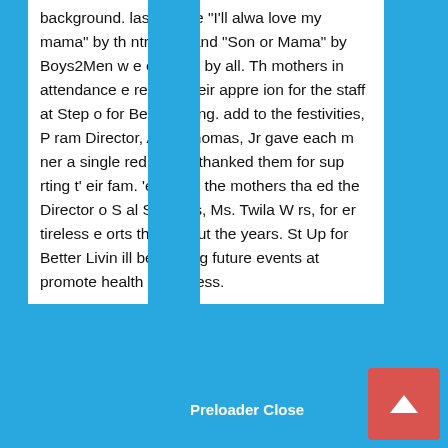background. Classics like "I'll always love my mama" by the Intruders and "Song for Mama" by Boys2Men were enjoyed by all. The mothers in attendance expressed their appreciation for the staff at Step Up for Better Living. To add to the festivities, Program Director, Andre Thomas, Jr gave each mother a single red rose and thanked them for supporting their families. One of the mothers thanked the Director of Social Services, Ms. Twila Waters, for her tireless efforts throughout the years. Step Up for Better Living will be hosting future events that promote health and wellness.
Preloader Close